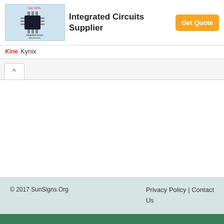[Figure (infographic): Kynix integrated circuits supplier advertisement banner with chip image, title text, and Get Quote button]
Kynix
[Figure (other): Collapse/accordion arrow-up tab button]
© 2017 SunSigns.Org    Privacy Policy | Contact Us